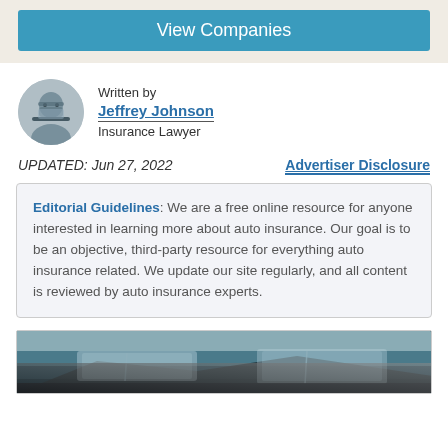View Companies
Written by
Jeffrey Johnson
Insurance Lawyer
UPDATED: Jun 27, 2022
Advertiser Disclosure
Editorial Guidelines: We are a free online resource for anyone interested in learning more about auto insurance. Our goal is to be an objective, third-party resource for everything auto insurance related. We update our site regularly, and all content is reviewed by auto insurance experts.
[Figure (photo): Photo of cars, showing windshields and side mirrors of parked vehicles]